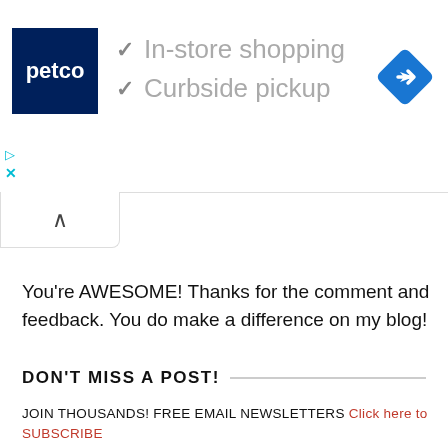[Figure (infographic): Petco advertisement banner with dark blue Petco logo on the left, checkmarks for 'In-store shopping' and 'Curbside pickup' in the center, and a blue diamond navigation icon on the right. Below the logo are a play button and X/close button in teal. A collapse tab with an up-caret is shown below the banner.]
You're AWESOME! Thanks for the comment and feedback. You do make a difference on my blog!
DON'T MISS A POST!
JOIN THOUSANDS! FREE EMAIL NEWSLETTERS Click here to SUBSCRIBE